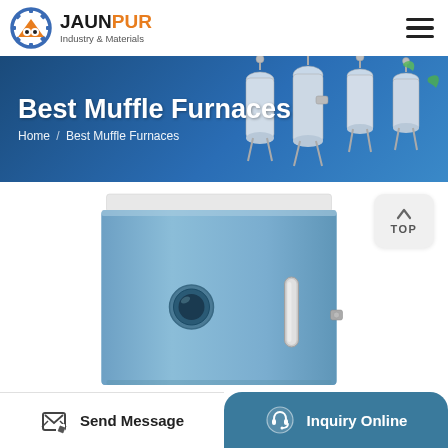JAUNPUR Industry & Materials
Best Muffle Furnaces
Home / Best Muffle Furnaces
[Figure (photo): Blue muffle furnace box with handle and circular port visible on the front face]
Send Message
Inquiry Online